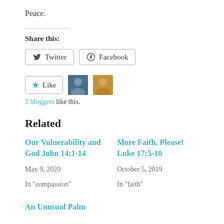Peace.
Share this:
Twitter  Facebook
Like  2 bloggers like this.
Related
Our Vulnerability and God John 14:1-14
May 9, 2020
In "compassion"
More Faith, Please! Luke 17:5-10
October 5, 2019
In "faith"
An Unusual Palm